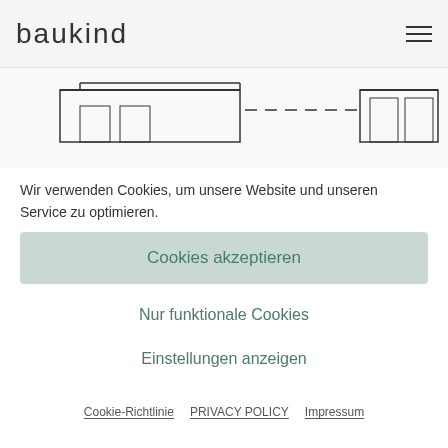baukind
[Figure (schematic): Architectural floor plan / blueprint line drawing showing a building cross-section or elevation with dashed lines in the center]
Wir verwenden Cookies, um unsere Website und unseren Service zu optimieren.
Cookies akzeptieren
Nur funktionale Cookies
Einstellungen anzeigen
Cookie-Richtlinie  PRIVACY POLICY  Impressum